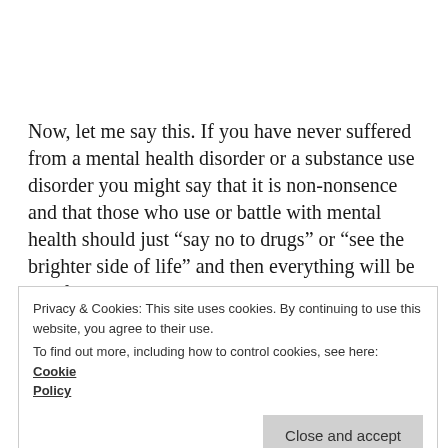Now, let me say this. If you have never suffered from a mental health disorder or a substance use disorder you might say that it is non-nonsence and that those who use or battle with mental health should just "say no to drugs" or "see the brighter side of life" and then everything will be just fine!
(partial large heading text, partially obscured)
Privacy & Cookies: This site uses cookies. By continuing to use this website, you agree to their use.
To find out more, including how to control cookies, see here: Cookie Policy
Close and accept